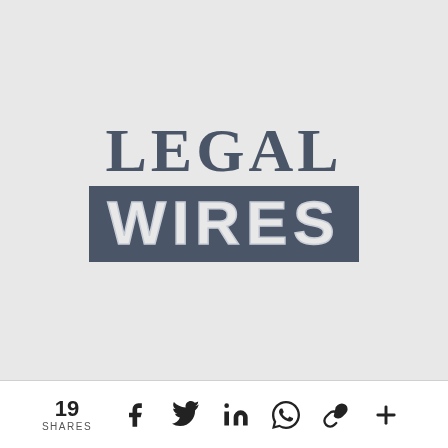[Figure (logo): Legal Wires logo: 'LEGAL' in large serif bold dark slate text above 'WIRES' in large bold sans-serif white text on a dark slate rectangular background]
19 SHARES